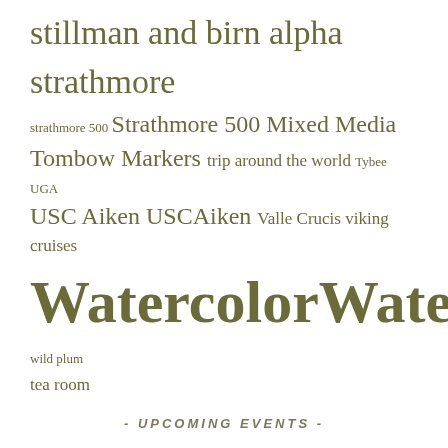stillman and birn alpha strathmore strathmore 500 Strathmore 500 Mixed Media Tombow Markers trip around the world Tybee UGA USC Aiken USCAiken Valle Crucis viking cruises Watercolor Watercolour wild plum tea room
- UPCOMING EVENTS -
No upcoming events
· ·
[Figure (photo): Small square avatar photo of a person]